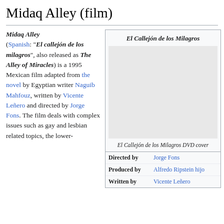Midaq Alley (film)
Midaq Alley (Spanish: "El callejón de los milagros", also released as The Alley of Miracles) is a 1995 Mexican film adapted from the novel by Egyptian writer Naguib Mahfouz, written by Vicente Leñero and directed by Jorge Fons. The film deals with complex issues such as gay and lesbian related topics, the lower-
[Figure (other): Infobox for El Callejón de los Milagros film with title, placeholder image area, caption, and production details including Director, Producer, and Written by fields.]
El Callejón de los Milagros DVD cover